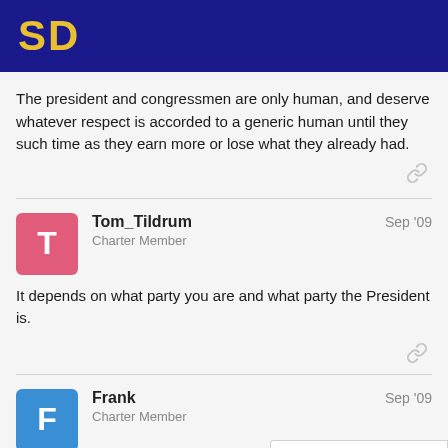SD
The president and congressmen are only human, and deserve whatever respect is accorded to a generic human until they such time as they earn more or lose what they already had.
Tom_Tildrum
Charter Member
Sep '09
It depends on what party you are and what party the President is.
Frank
Charter Member
Sep '09
2 / 22